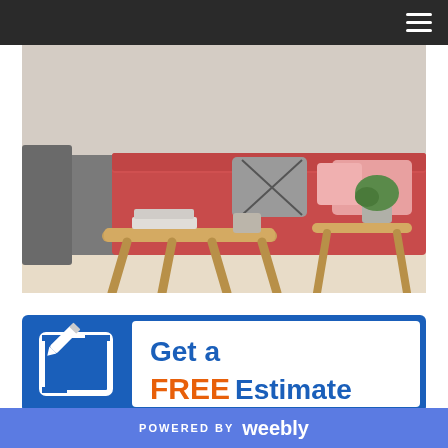[Figure (screenshot): Dark navigation bar with hamburger menu icon on the right side]
[Figure (photo): Living room interior with red/pink sectional sofa, patterned pillows, wooden coffee tables on beige carpet, with a mug and books on the table]
[Figure (infographic): Get a FREE Estimate banner with blue background on left side containing pencil/edit icon, and white background on right with text 'Get a FREE Estimate' where FREE is in orange]
POWERED BY weebly